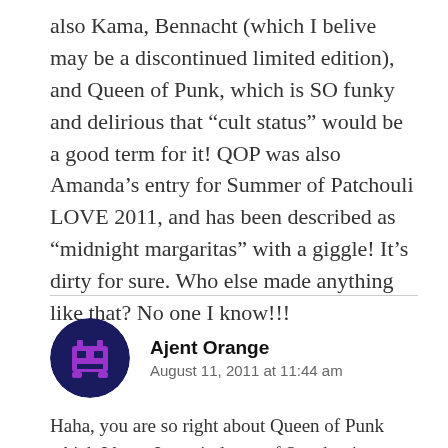also Kama, Bennacht (which I belive may be a discontinued limited edition), and Queen of Punk, which is SO funky and delirious that “cult status” would be a good term for it! QOP was also Amanda’s entry for Summer of Patchouli LOVE 2011, and has been described as “midnight margaritas” with a giggle! It’s dirty for sure. Who else made anything like that? No one I know!!!
[Figure (illustration): Circular avatar with dark navy background showing a pixel-art style robot/space invader icon in purple]
Ajent Orange
August 11, 2011 at 11:44 am
Haha, you are so right about Queen of Punk which I love. It reminds me of Spaghetti